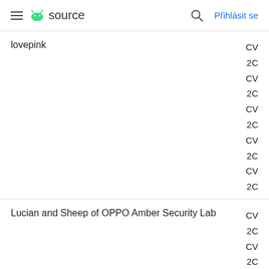≡ 🤖 source  🔍 Přihlásit se
lovepink
Lucian and Sheep of OPPO Amber Security Lab
Lucian of OPPO Amber Security Lab